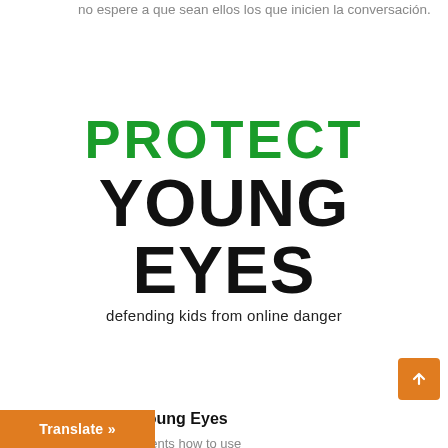no espere a que sean ellos los que inicien la conversación.
[Figure (logo): Protect Young Eyes logo — 'PROTECT' in green, 'YOUNG EYES' in bold black, tagline 'defending kids from online danger']
Protect Young Eyes
reaching parents how to use
Translate »